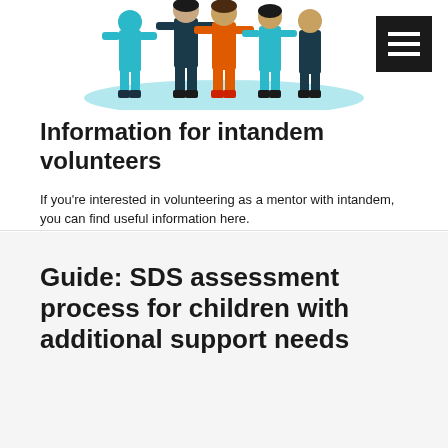[Figure (illustration): Illustration of a group of people standing together, including figures in teal, dark blue, and red clothing, on a light blue base]
Information for intandem volunteers
If you're interested in volunteering as a mentor with intandem, you can find useful information here.
READ MORE
Guide: SDS assessment process for children with additional support needs